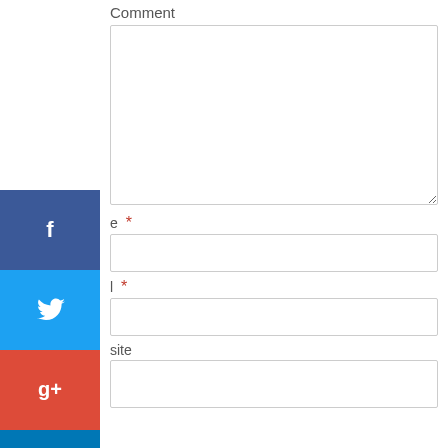Comment
[Figure (screenshot): Comment textarea input field (empty)]
e *
[Figure (screenshot): Name input field (empty)]
l *
[Figure (screenshot): Email input field (empty)]
site
[Figure (screenshot): Website input field (empty)]
[Figure (infographic): Social media share buttons sidebar: Facebook (blue), Twitter (light blue), Google+ (red-orange), LinkedIn (blue), Pinterest (red), Reddit (grey-blue), StumbleUpon (orange-red)]